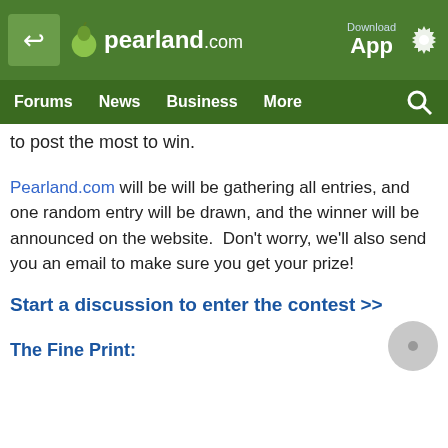pearland.com — Download App
Forums  News  Business  More
to post the most to win.
Pearland.com will be will be gathering all entries, and one random entry will be drawn, and the winner will be announced on the website.  Don't worry, we'll also send you an email to make sure you get your prize!
Start a discussion to enter the contest >>
The Fine Print: